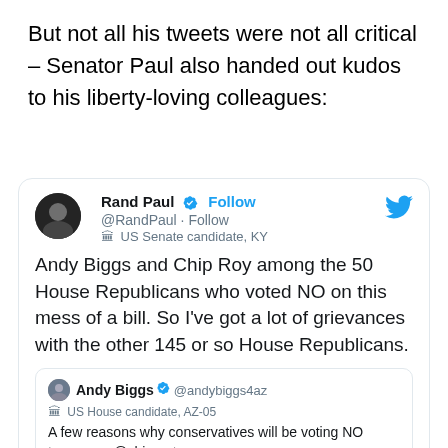But not all his tweets were not all critical – Senator Paul also handed out kudos to his liberty-loving colleagues:
[Figure (screenshot): Embedded tweet from Rand Paul (@RandPaul) with verified badge and Follow button. US Senate candidate, KY. Tweet text: Andy Biggs and Chip Roy among the 50 House Republicans who voted NO on this mess of a bill. So I've got a lot of grievances with the other 145 or so House Republicans. Quoted tweet from Andy Biggs (@andybiggs4az): US House candidate, AZ-05. A few reasons why conservatives will be voting NO tomorrow. @chiproytx]